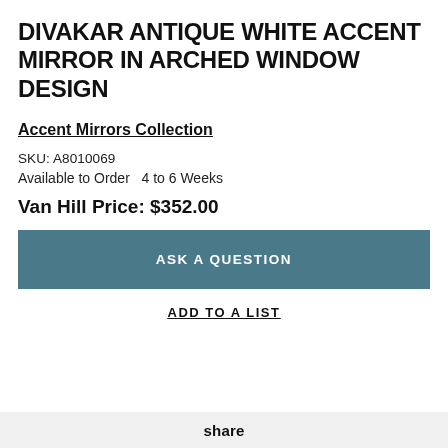DIVAKAR ANTIQUE WHITE ACCENT MIRROR IN ARCHED WINDOW DESIGN
Accent Mirrors Collection
SKU: A8010069
Available to Order  4 to 6 Weeks
Van Hill Price: $352.00
ASK A QUESTION
ADD TO A LIST
share